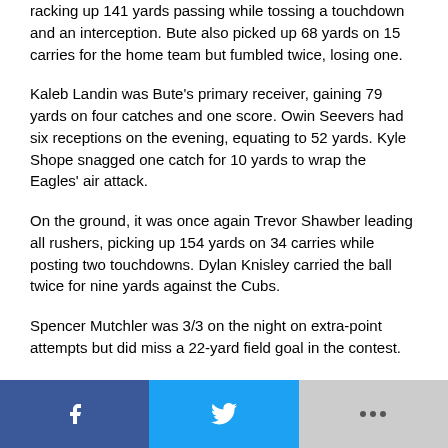racking up 141 yards passing while tossing a touchdown and an interception. Bute also picked up 68 yards on 15 carries for the home team but fumbled twice, losing one.
Kaleb Landin was Bute's primary receiver, gaining 79 yards on four catches and one score. Owin Seevers had six receptions on the evening, equating to 52 yards. Kyle Shope snagged one catch for 10 yards to wrap the Eagles' air attack.
On the ground, it was once again Trevor Shawber leading all rushers, picking up 154 yards on 34 carries while posting two touchdowns. Dylan Knisley carried the ball twice for nine yards against the Cubs.
Spencer Mutchler was 3/3 on the night on extra-point attempts but did miss a 22-yard field goal in the contest.
Lucas picked up 267 yards of total offense against Crawford Friday. The Cubs ran 45 running plays to amass 226 yards
[Figure (other): Social sharing bar with Facebook, Twitter, and more (+) buttons]